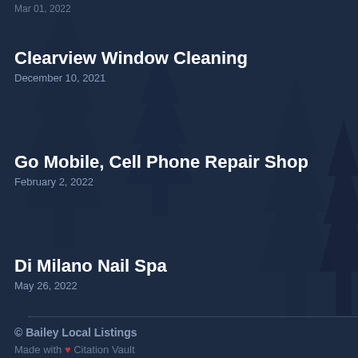Clearview Window Cleaning
December 10, 2021
Go Mobile, Cell Phone Repair Shop
February 2, 2022
Di Milano Nail Spa
May 26, 2022
© Bailey Local Listings
Made with ❤ Citation Vault